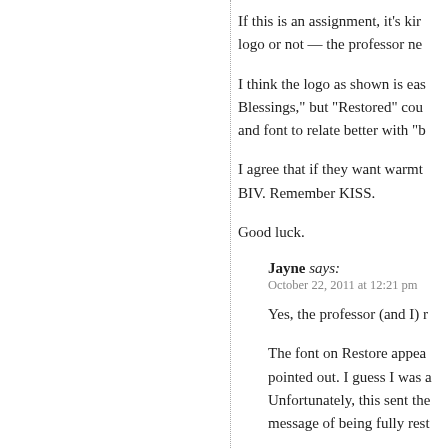If this is an assignment, it's kir logo or not — the professor ne
I think the logo as shown is eas Blessings," but "Restored" cou and font to relate better with "b
I agree that if they want warmt BIV. Remember KISS.
Good luck.
Jayne says: October 22, 2011 at 12:21 pm
Yes, the professor (and I) r
The font on Restore appea pointed out. I guess I was a Unfortunately, this sent the message of being fully rest